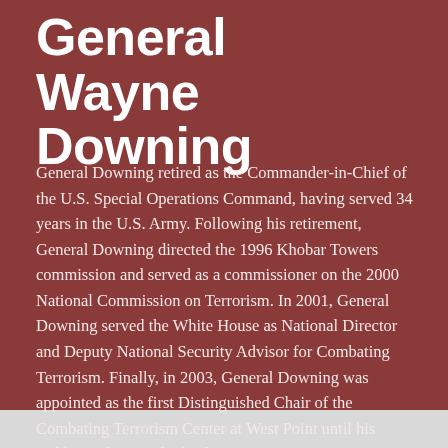General Wayne Downing
General Downing retired as the Commander-in-Chief of the U.S. Special Operations Command, having served 34 years in the U.S. Army. Following his retirement, General Downing directed the 1996 Khobar Towers commission and served as a commissioner on the 2000 National Commission on Terrorism. In 2001, General Downing served the White House as National Director and Deputy National Security Advisor for Combating Terrorism. Finally, in 2003, General Downing was appointed as the first Distinguished Chair of the Combating Terrorism Center at West Point until his sudden and untimely death in 2007.